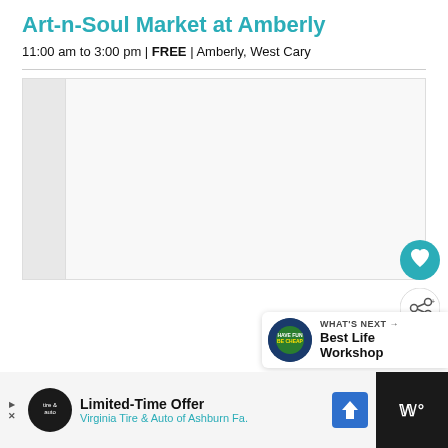Art-n-Soul Market at Amberly
11:00 am to 3:00 pm | FREE | Amberly, West Cary
[Figure (photo): Event image placeholder with sidebar and main content area]
WHAT'S NEXT → Best Life Workshop
Limited-Time Offer
Virginia Tire & Auto of Ashburn Fa.